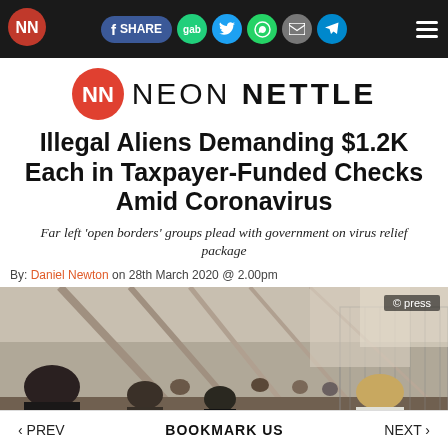Neon Nettle navigation bar with share buttons: Facebook SHARE, gab, Twitter, WhatsApp, email, Telegram, and menu
[Figure (logo): Neon Nettle logo: red NN icon with NEON NETTLE text]
Illegal Aliens Demanding $1.2K Each in Taxpayer-Funded Checks Amid Coronavirus
Far left 'open borders' groups plead with government on virus relief package
By: Daniel Newton on 28th March 2020 @ 2.00pm
[Figure (photo): People walking through a border crossing checkpoint corridor with chain-link fencing, viewed from behind]
‹ PREV    BOOKMARK US    NEXT ›